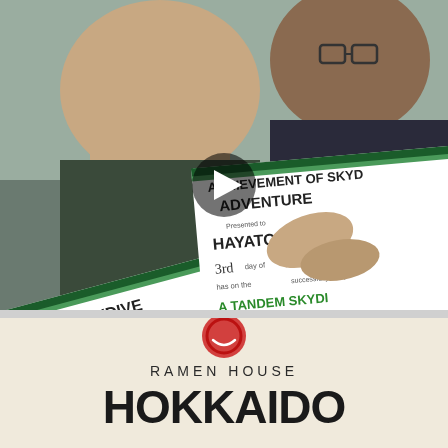[Figure (photo): Two people holding skydive achievement certificates. Left certificate reads 'ACHIEVEMENT OF SKYDIVE ADVENTURE, Presented to SSIE MOYER, day of April, successfully completed 20 22, DIVE OVER GUAM, AS ISLANDS'. Right certificate reads 'ACHIEVEMENT OF SKYDIVE ADVENTURE, Presented to HAYATO ATAL, 3rd day of Apr, successfully completed, A TANDEM SKYD, THE MARIAN'. A play button icon is visible in the center.]
[Figure (photo): A white tote bag or cloth item with a red circular logo at the top and text reading 'RAMEN HOUSE HOKKAIDO' in large black letters.]